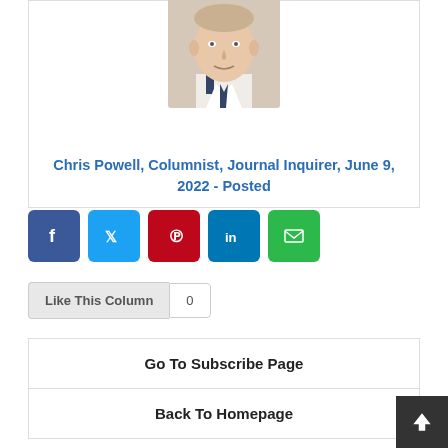[Figure (photo): Headshot photo of a man in a suit, partially cropped at top]
Chris Powell, Columnist, Journal Inquirer, June 9, 2022 - Posted
[Figure (infographic): Social sharing buttons: Facebook (blue), Twitter (light blue), Pinterest (red), LinkedIn (dark blue), Email (green)]
Like This Column   0
Go To Subscribe Page
Back To Homepage